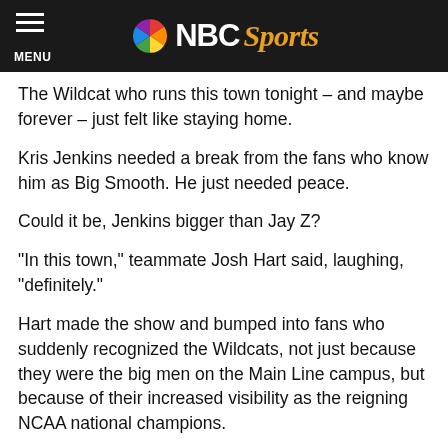NBC Sports
The Wildcat who runs this town tonight – and maybe forever – just felt like staying home.
Kris Jenkins needed a break from the fans who know him as Big Smooth. He just needed peace.
Could it be, Jenkins bigger than Jay Z?
“In this town,” teammate Josh Hart said, laughing, “definitely.”
Hart made the show and bumped into fans who suddenly recognized the Wildcats, not just because they were the big men on the Main Line campus, but because of their increased visibility as the reigning NCAA national champions.
Hart can’t blame Jenkins for his desire to keep a low profile.